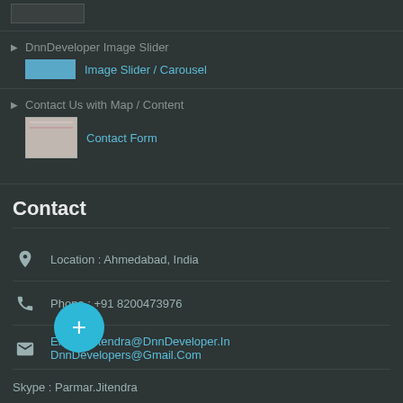[Figure (screenshot): Small thumbnail image placeholder at top]
DnnDeveloper Image Slider — Image Slider / Carousel
Contact Us with Map / Content — Contact Form
Contact
Location : Ahmedabad, India
Phone : +91 8200473976
Email : Jitendra@DnnDeveloper.In
DnnDevelopers@Gmail.Com
Skype : Parmar.Jitendra
[Figure (illustration): Floating teal circular button with + sign]